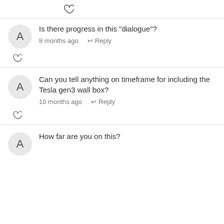[Figure (other): Heart/like icon at top]
Is there progress in this "dialogue"?
8 months ago   ↩ Reply
[Figure (other): Heart/like icon]
Can you tell anything on timeframe for including the Tesla gen3 wall box?
10 months ago   ↩ Reply
[Figure (other): Heart/like icon]
How far are you on this?